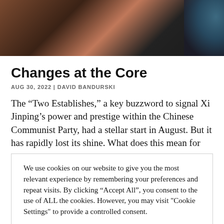[Figure (photo): Photo of people at an event, partially visible at the top of the page. Dark background with figures in suits.]
Changes at the Core
AUG 30, 2022 | DAVID BANDURSKI
The “Two Establishes,” a key buzzword to signal Xi Jinping’s power and prestige within the Chinese Communist Party, had a stellar start in August. But it has rapidly lost its shine. What does this mean for
We use cookies on our website to give you the most relevant experience by remembering your preferences and repeat visits. By clicking “Accept All”, you consent to the use of ALL the cookies. However, you may visit "Cookie Settings" to provide a controlled consent.
Cookie Settings | Accept All